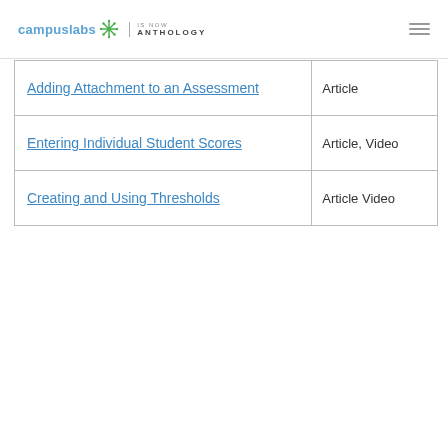campuslabs IS NOW ANTHOLOGY
|  |  |
| --- | --- |
| Adding Attachment to an Assessment | Article |
| Entering Individual Student Scores | Article, Video |
| Creating and Using Thresholds | Article Video |